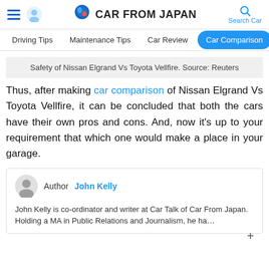CAR FROM JAPAN — Driving Tips | Maintenance Tips | Car Review | Car Comparison
Safety of Nissan Elgrand Vs Toyota Vellfire. Source: Reuters
Thus, after making car comparison of Nissan Elgrand Vs Toyota Vellfire, it can be concluded that both the cars have their own pros and cons. And, now it's up to your requirement that which one would make a place in your garage.
Author  John Kelly
John Kelly is co-ordinator and writer at Car Talk of Car From Japan. Holding a MA in Public Relations and Journalism, he ha…